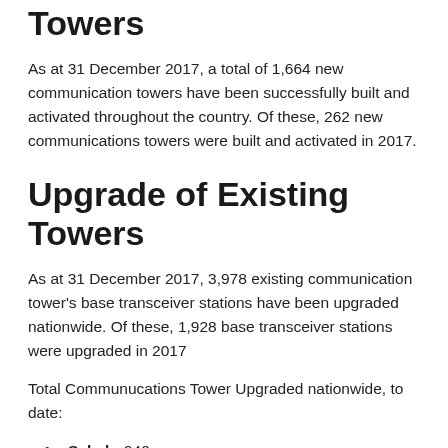Towers
As at 31 December 2017, a total of 1,664 new communication towers have been successfully built and activated throughout the country. Of these, 262 new communications towers were built and activated in 2017.
Upgrade of Existing Towers
As at 31 December 2017, 3,978 existing communication tower's base transceiver stations have been upgraded nationwide. Of these, 1,928 base transceiver stations were upgraded in 2017
Total Communucations Tower Upgraded nationwide, to date:
Sabah: 940
Sarawak: 859
Pahang: 561